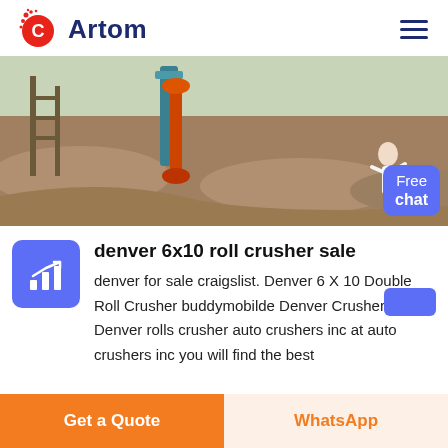Artom
[Figure (photo): Outdoor construction/mining site with heavy machinery, conveyor belts, and gravel mounds. A person in white is visible at the right side.]
denver 6x10 roll crusher sale
denver for sale craigslist. Denver 6 X 10 Double Roll Crusher buddymobilde Denver Crushers Roll Denver rolls crusher auto crushers inc at auto crushers inc you will find the best